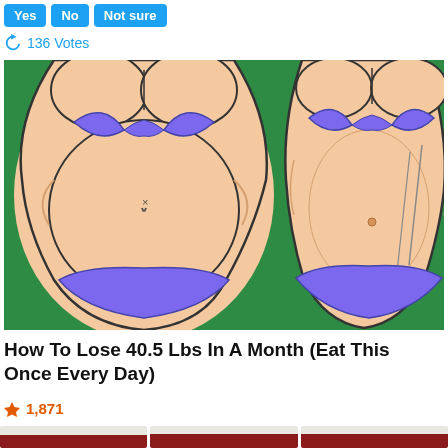Yes
No
Not sure
136 Votes
[Figure (illustration): Before and after illustration of a woman's torso in a purple bikini, left side showing a larger belly, right side showing a slimmer waist with an acupuncture needle, set against a green background.]
How To Lose 40.5 Lbs In A Month (Eat This Once Every Day)
1,871
[Figure (photo): Three cropped dental photos showing close-up views of teeth and gums, partially visible at the bottom of the page.]